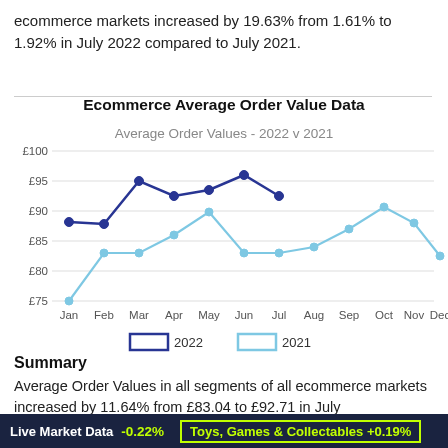ecommerce markets increased by 19.63% from 1.61% to 1.92% in July 2022 compared to July 2021.
[Figure (line-chart): Average Order Values - 2022 v 2021]
Summary
Average Order Values in all segments of all ecommerce markets increased by 11.64% from £83.04 to £92.71 in July
Live Market Data  -0.22%    Toys, Games & Collectables +0.19%